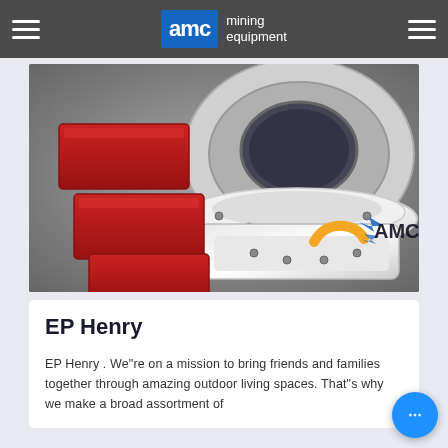AMC mining equipment
[Figure (photo): Close-up photo of mining equipment parts including red rectangular components and a large circular white metallic assembly with AMC logo visible in the bottom right corner.]
EP Henry
EP Henry . We"re on a mission to bring friends and families together through amazing outdoor living spaces. That"s why we make a broad assortment of